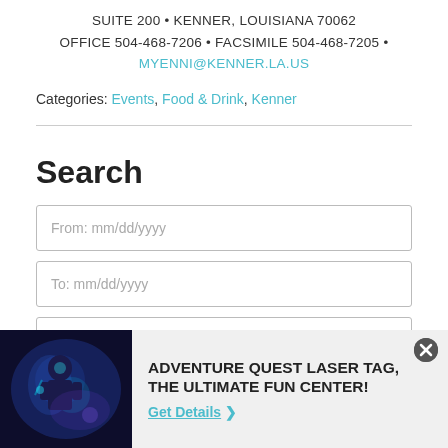SUITE 200 • KENNER, LOUISIANA 70062
OFFICE 504-468-7206 • FACSIMILE 504-468-7205 •
MYENNI@KENNER.LA.US
Categories: Events, Food & Drink, Kenner
Search
From: mm/dd/yyyy
To: mm/dd/yyyy
Keyword
[Figure (photo): Advertisement banner showing a person playing laser tag in a dark room with blue/purple lighting, for Adventure Quest Laser Tag, The Ultimate Fun Center!]
ADVENTURE QUEST LASER TAG, THE ULTIMATE FUN CENTER!
Get Details ❯